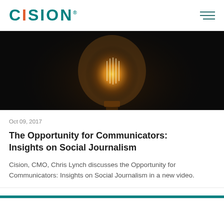CISION
[Figure (photo): Close-up photograph of an illuminated vintage Edison light bulb against a dark black background, with warm golden filament glow]
Oct 09, 2017
The Opportunity for Communicators: Insights on Social Journalism
Cision, CMO, Chris Lynch discusses the Opportunity for Communicators: Insights on Social Journalism in a new video.
Get It Now